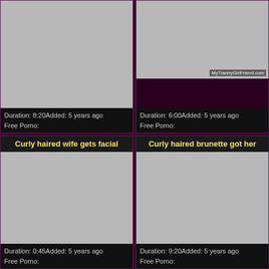[Figure (photo): Video thumbnail placeholder (grey), no title shown, top-left card]
Duration: 8:20Added: 5 years ago
Free Porno:
[Figure (photo): Video thumbnail showing two people on a bed, with watermark MyTrannyGirlFriend.com, top-right card]
Duration: 6:00Added: 5 years ago
Free Porno:
Curly haired wife gets facial
[Figure (photo): Video thumbnail placeholder (grey), bottom-left card]
Duration: 0:45Added: 5 years ago
Free Porno:
Curly haired brunette got her
[Figure (photo): Video thumbnail placeholder (grey), bottom-right card]
Duration: 9:20Added: 5 years ago
Free Porno: